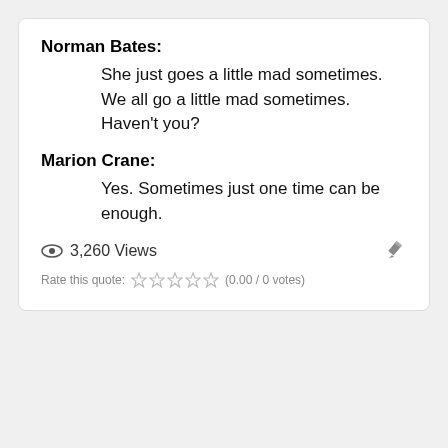Norman Bates:
She just goes a little mad sometimes. We all go a little mad sometimes. Haven't you?
Marion Crane:
Yes. Sometimes just one time can be enough.
3,260 Views
Rate this quote: (0.00 / 0 votes)